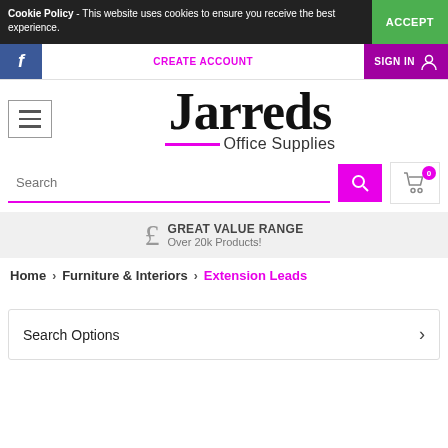Cookie Policy - This website uses cookies to ensure you receive the best experience. ACCEPT
f  CREATE ACCOUNT  SIGN IN
[Figure (logo): Jarreds Office Supplies logo with hamburger menu icon]
Search
£ GREAT VALUE RANGE Over 20k Products!
Home > Furniture & Interiors > Extension Leads
Search Options >